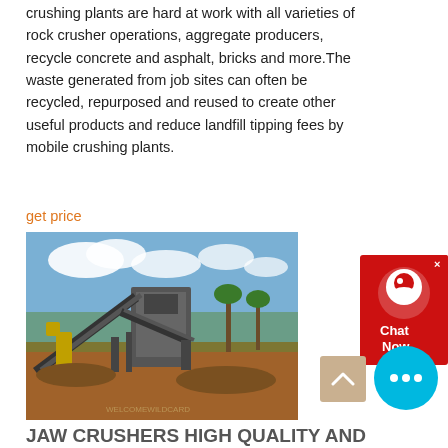crushing plants are hard at work with all varieties of rock crusher operations, aggregate producers, recycle concrete and asphalt, bricks and more.The waste generated from job sites can often be recycled, repurposed and reused to create other useful products and reduce landfill tipping fees by mobile crushing plants.
get price
[Figure (photo): Outdoor photo of a mobile jaw crushing plant at a job site, with conveyor belts, heavy machinery, red-brown soil, blue sky with clouds, and palm trees in the background.]
JAW CRUSHERS HIGH QUALITY AND RELIABILITY FROM RETSCH
The jaw crushers are available in 8 different sizes: BB 50, BB 100, BB 200, BB 300 and the XL models BB 250 XL, BB 400 XL, BB 500 XL and BB 600 XL. Throughput and final fineness...